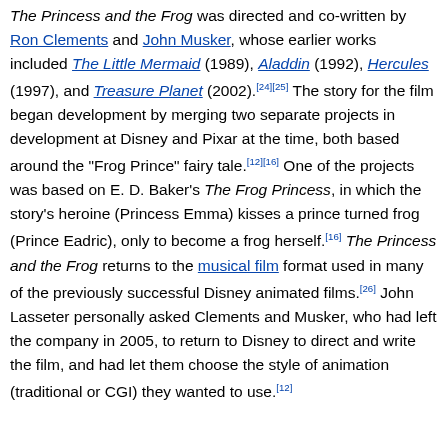The Princess and the Frog was directed and co-written by Ron Clements and John Musker, whose earlier works included The Little Mermaid (1989), Aladdin (1992), Hercules (1997), and Treasure Planet (2002).[24][25] The story for the film began development by merging two separate projects in development at Disney and Pixar at the time, both based around the "Frog Prince" fairy tale.[12][16] One of the projects was based on E. D. Baker's The Frog Princess, in which the story's heroine (Princess Emma) kisses a prince turned frog (Prince Eadric), only to become a frog herself.[16] The Princess and the Frog returns to the musical film format used in many of the previously successful Disney animated films.[26] John Lasseter personally asked Clements and Musker, who had left the company in 2005, to return to Disney to direct and write the film, and had let them choose the style of animation (traditional or CGI) they wanted to use.[12]